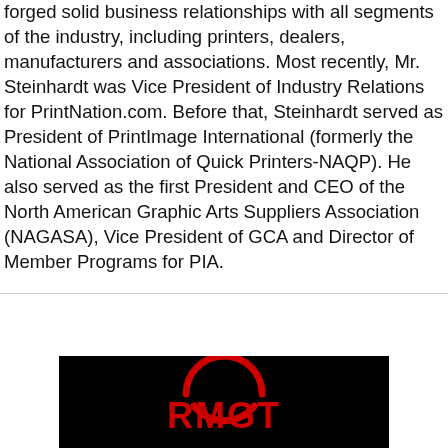forged solid business relationships with all segments of the industry, including printers, dealers, manufacturers and associations. Most recently, Mr. Steinhardt was Vice President of Industry Relations for PrintNation.com. Before that, Steinhardt served as President of PrintImage International (formerly the National Association of Quick Printers-NAQP). He also served as the first President and CEO of the North American Graphic Arts Suppliers Association (NAGASA), Vice President of GCA and Director of Member Programs for PIA.
[Figure (logo): RMGT logo in red text on a black background, with a red circular arc above the text]